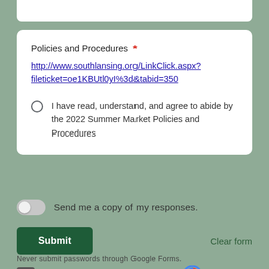Policies and Procedures *
http://www.southlansing.org/LinkClick.aspx?fileticket=oe1KBUtl0yI%3d&tabid=350
I have read, understand, and agree to abide by the 2022 Summer Market Policies and Procedures
Send me a copy of my responses.
Submit
Clear form
Never submit passwords through Google Forms.
[Figure (logo): reCAPTCHA logo with Privacy and Terms links]